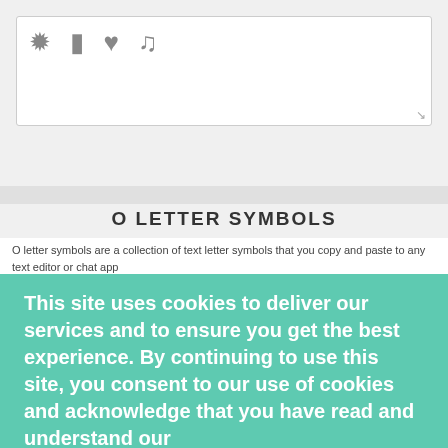[Figure (screenshot): Web app textarea with decorative symbols (flower, rectangle, heart, musical note)]
[Figure (screenshot): Toolbar with trash icon, search box placeholder 'heart, flower', arrows toggle, Twitter button, image button, and Copy button]
O LETTER SYMBOLS
O letter symbols are a collection of text letter symbols that you copy and paste to any text editor or chat app
This site uses cookies to deliver our services and to ensure you get the best experience. By continuing to use this site, you consent to our use of cookies and acknowledge that you have read and understand our
Privacy Policy, Cookie Policy, and Terms
[Figure (screenshot): Cookie consent overlay with Accept button and emoji faces (sad face, happy face)]